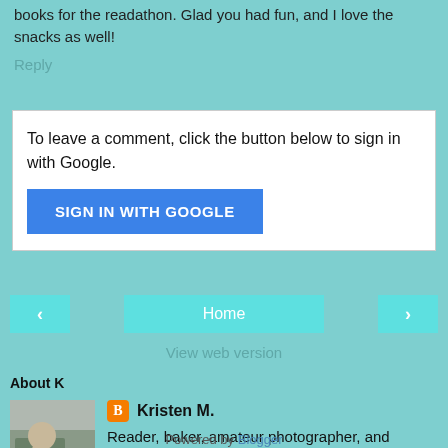books for the readathon. Glad you had fun, and I love the snacks as well!
Reply
To leave a comment, click the button below to sign in with Google.
[Figure (screenshot): SIGN IN WITH GOOGLE button (blue)]
[Figure (screenshot): Navigation bar with back arrow, Home button, forward arrow]
View web version
About K
[Figure (photo): Profile photo showing a child reading on a couch]
Kristen M.
Reader, baker, amateur photographer, and naturalist
View my complete profile
Powered by Blogger